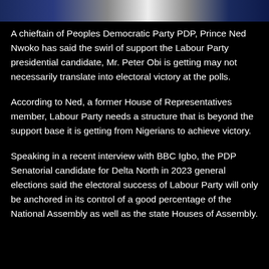[Figure (photo): Top portion of a photo showing people, partially cropped, with dark background]
A chieftain of Peoples Democratic Party PDP, Prince Ned Nwoko has said the swirl of support the Labour Party presidential candidate, Mr. Peter Obi is getting may not necessarily translate into electoral victory at the polls.
According to Ned, a former House of Representatives member, Labour Party needs a structure that is beyond the support base it is getting from Nigerians to achieve victory.
Speaking in a recent interview with BBC Igbo, the PDP Senatorial candidate for Delta North in 2023 general elections said the electoral success of Labour Party will only be anchored in its control of a good percentage of the National Assembly as well as the state Houses of Assembly.